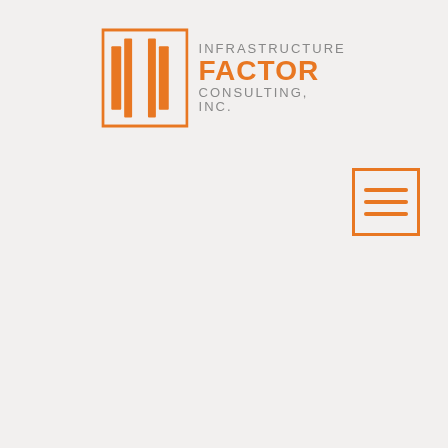[Figure (logo): Infrastructure Factor Consulting, Inc. logo with orange geometric icon on the left and company name text on the right]
[Figure (other): Orange bordered square with three horizontal orange lines inside, resembling a hamburger menu icon]